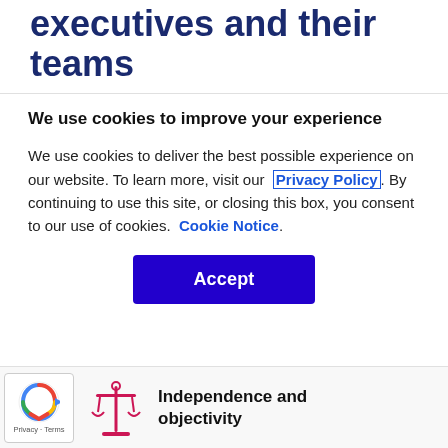executives and their teams
We use cookies to improve your experience
We use cookies to deliver the best possible experience on our website. To learn more, visit our Privacy Policy. By continuing to use this site, or closing this box, you consent to our use of cookies. Cookie Notice.
Accept
[Figure (logo): reCAPTCHA logo with Privacy - Terms text]
[Figure (illustration): Pink and red balance/scales of justice icon]
Independence and objectivity